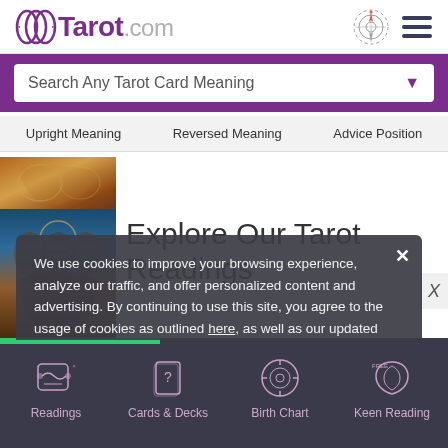Tarot.com
Search Any Tarot Card Meaning
Upright Meaning  |  Reversed Meaning  |  Advice Position
Explore Our Tarot Readings
We use cookies to improve your browsing experience, analyze our traffic, and offer personalized content and advertising. By continuing to use this site, you agree to the usage of cookies as outlined here, as well as our updated Privacy Policy and Terms of Use.
Readings  Cards & Decks  Birth Chart  Keen Reading